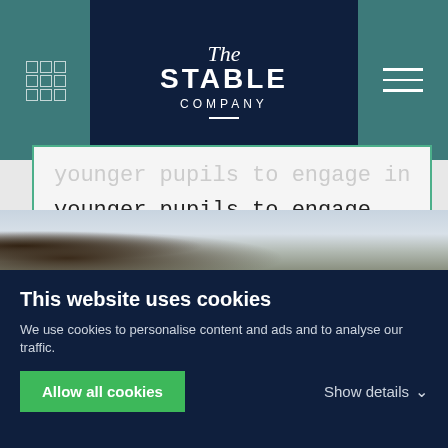The Stable Company
younger pupils to engage in without disturbing the older pupils.
CONTACT US ↓
[Figure (photo): Outdoor photo showing tree branches against a light sky]
This website uses cookies
We use cookies to personalise content and ads and to analyse our traffic.
Allow all cookies
Show details